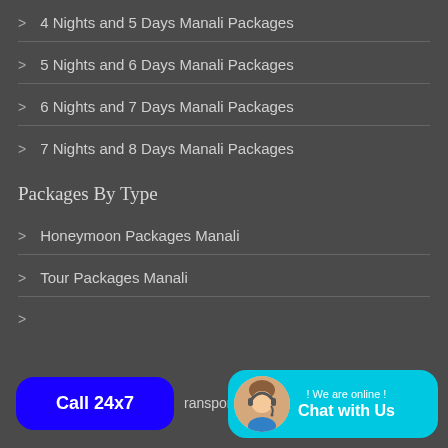4 Nights and 5 Days Manali Packages
5 Nights and 6 Days Manali Packages
6 Nights and 7 Days Manali Packages
7 Nights and 8 Days Manali Packages
Packages By Type
Honeymoon Packages Manali
Tour Packages Manali
ransportation
Call 24x7
! We are online ! Chat with Us